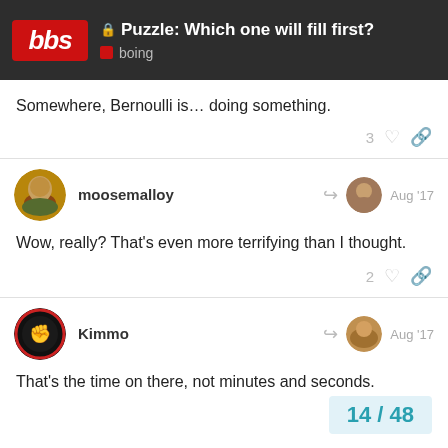Puzzle: Which one will fill first? boing
Somewhere, Bernoulli is… doing something.
moosemalloy Aug '17
Wow, really? That's even more terrifying than I thought.
Kimmo Aug '17
That's the time on there, not minutes and seconds.
14 / 48